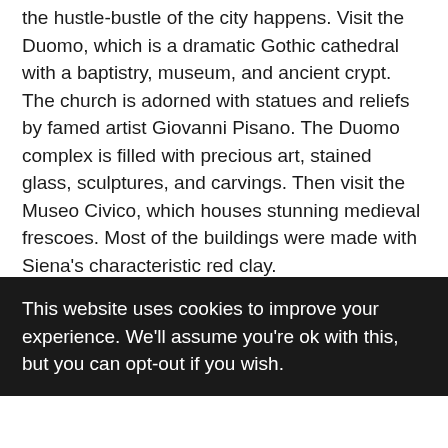the hustle-bustle of the city happens. Visit the Duomo, which is a dramatic Gothic cathedral with a baptistry, museum, and ancient crypt. The church is adorned with statues and reliefs by famed artist Giovanni Pisano. The Duomo complex is filled with precious art, stained glass, sculptures, and carvings. Then visit the Museo Civico, which houses stunning medieval frescoes. Most of the buildings were made with Siena's characteristic red clay.
Walk the vibrant medieval streets of Siena. There are many boutique crafts shops, restaurants and pastry shops. Grab a coffee and some local delicacies and soak it all in. Later on, climb the Porta del Cielo for amazing views and great photo
This website uses cookies to improve your experience. We'll assume you're ok with this, but you can opt-out if you wish.